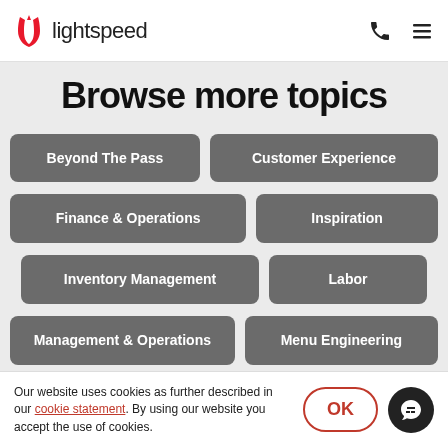lightspeed
Browse more topics
Beyond The Pass
Customer Experience
Finance & Operations
Inspiration
Inventory Management
Labor
Management & Operations
Menu Engineering
Our website uses cookies as further described in our cookie statement. By using our website you accept the use of cookies.